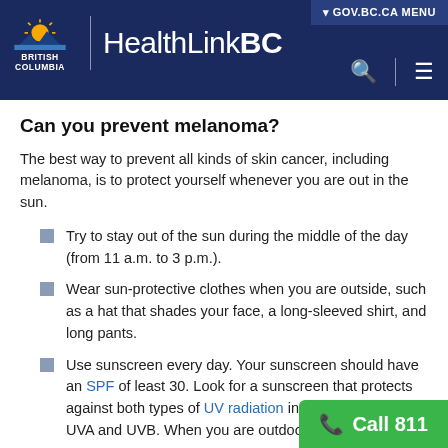HealthLinkBC - British Columbia Government
Can you prevent melanoma?
The best way to prevent all kinds of skin cancer, including melanoma, is to protect yourself whenever you are out in the sun.
Try to stay out of the sun during the middle of the day (from 11 a.m. to 3 p.m.).
Wear sun-protective clothes when you are outside, such as a hat that shades your face, a long-sleeved shirt, and long pants.
Use sunscreen every day. Your sunscreen should have an SPF of least 30. Look for a sunscreen that protects against both types of UV radiation in the sun's rays—UVA and UVB. When you are outdoors for long...